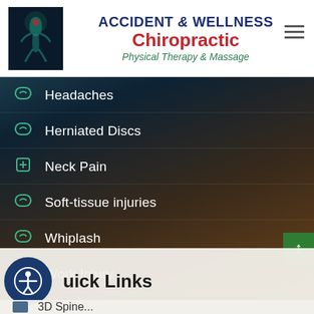[Figure (logo): Accident & Wellness Chiropractic logo with spine/body image on left and text on right]
Headaches
Herniated Discs
Neck Pain
Soft-tissue injuries
Whiplash
Work Injury
Quick Links
3D Spine...